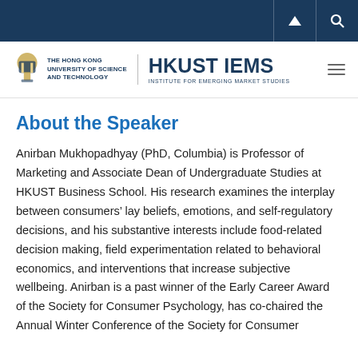HKUST IEMS — The Hong Kong University of Science and Technology, Institute for Emerging Market Studies
About the Speaker
Anirban Mukhopadhyay (PhD, Columbia) is Professor of Marketing and Associate Dean of Undergraduate Studies at HKUST Business School. His research examines the interplay between consumers' lay beliefs, emotions, and self-regulatory decisions, and his substantive interests include food-related decision making, field experimentation related to behavioral economics, and interventions that increase subjective wellbeing. Anirban is a past winner of the Early Career Award of the Society for Consumer Psychology, has co-chaired the Annual Winter Conference of the Society for Consumer